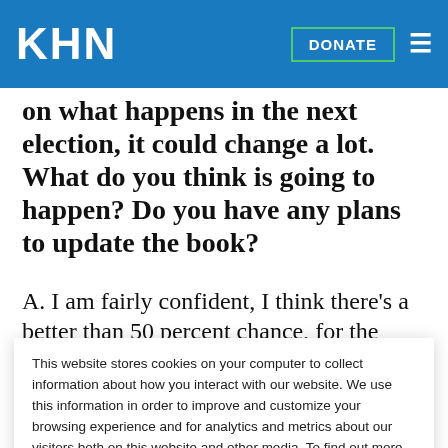KHN
on what happens in the next election, it could change a lot. What do you think is going to happen? Do you have any plans to update the book?
A. I am fairly confident, I think there's a better than 50 percent chance, for the Supreme Court not to turn down the mandate and voters not to kick...
This website stores cookies on your computer to collect information about how you interact with our website. We use this information in order to improve and customize your browsing experience and for analytics and metrics about our visitors both on this website and other media. To find out more about the cookies we use, see our Privacy Policy.
Accept